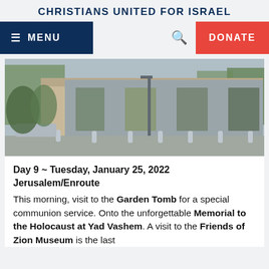CHRISTIANS UNITED FOR ISRAEL
[Figure (screenshot): Website navigation bar with dark navy MENU button on the left, search icon and red DONATE button on the right]
[Figure (photo): Exterior photo of a modern building with large rectangular openings/windows, bollards in the foreground, trees and parked cars visible]
Day 9 ~ Tuesday, January 25, 2022 Jerusalem/Enroute
This morning, visit to the Garden Tomb for a special communion service. Onto the unforgettable Memorial to the Holocaust at Yad Vashem. A visit to the Friends of Zion Museum is the last